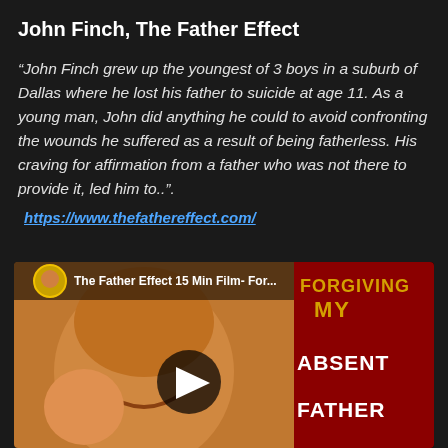John Finch, The Father Effect
“John Finch grew up the youngest of 3 boys in a suburb of Dallas where he lost his father to suicide at age 11. As a young man, John did anything he could to avoid confronting the wounds he suffered as a result of being fatherless. His craving for affirmation from a father who was not there to provide it, led him to..”.
https://www.thefathereffect.com/
[Figure (screenshot): YouTube video thumbnail for 'The Father Effect 15 Min Film- For...' showing a bald smiling man with a child, with text overlay 'FORGIVING MY ABSENT FATHER' on a dark red/black background, and a play button in the center.]